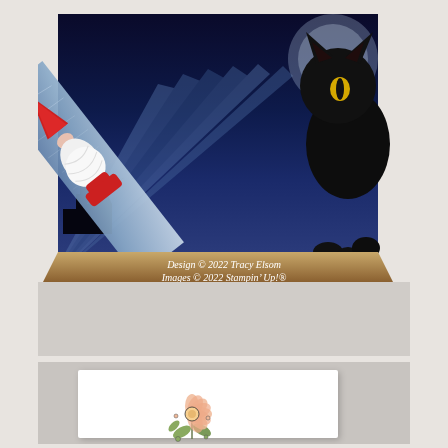[Figure (photo): Photo of a decorative craft box with a dark blue fantasy/Halloween themed design showing a black cat and gothic scenery. A diagonal bookmark or tag sits on top with a handmade gnome figure (red hat, pink nose, white beard) attached. Watermark text reads: Design © 2022 Tracy Elsom, Images © 2022 Stampin' Up!®, www.papercraftwithme.com with a Canadian flag emoji.]
[Figure (photo): Photo of a white card/paper on a gray background with a stamped floral image in the center — a peach/salmon colored flower with green leaves, outlined in black ink, in a botanical illustration style.]